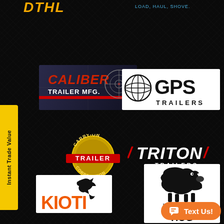[Figure (logo): Partial orange/yellow stylized text logo at top left (partially cropped)]
[Figure (logo): Partial logo at top right with text 'LOAD, HAUL, SHOVE.' in blue on dark background]
[Figure (logo): Caliber Trailer MFG. logo - red and gray with crosshair/target graphic on dark background]
[Figure (logo): GPS Trailers logo - globe icon with large GPS text and TRAILERS below, black and white]
[Figure (logo): Carry-On Trailer Corporation logo - circular gold badge design with red banner]
[Figure (logo): Triton Trailers logo - white italic text with red slash marks on dark background]
[Figure (logo): Kioti logo - orange bold text KIOTI with black wolf/dog silhouette, white background]
[Figure (logo): Bush Hog logo - black boar/hog silhouette, text 'IF IT DOESN'T SAY BUSH HOG IT JU...' on white background]
[Figure (logo): Text Us! button - orange rounded pill button with chat icon and white text]